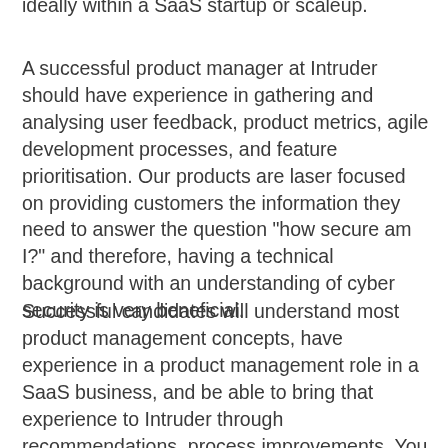ideally within a SaaS startup or scaleup.
A successful product manager at Intruder should have experience in gathering and analysing user feedback, product metrics, agile development processes, and feature prioritisation. Our products are laser focused on providing customers the information they need to answer the question "how secure am I?" and therefore, having a technical background with an understanding of cyber security is very beneficial.
Successful candidates will understand most product management concepts, have experience in a product management role in a SaaS business, and be able to bring that experience to Intruder through recommendations, process improvements. You will also have an analytical mindset, being able to engage